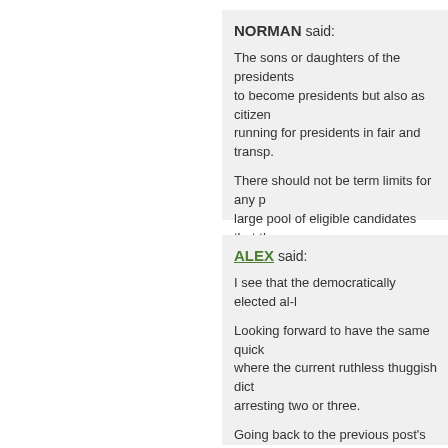NORMAN said: The sons or daughters of the presidents to become presidents but also as citizen running for presidents in fair and transp. There should not be term limits for any large pool of eligible candidates that the term limit is a violation of people right to. The major point here is a free and clear. February 27th, 2011, 1:52 pm
ALEX said: I see that the democratically elected al- Looking forward to have the same quick where the current ruthless thuggish dict arresting two or three. Going back to the previous post's reform anything against it and I hope the Presi of his current term (in 2014) and I hope obstacles like it always does. I doubt what we will hear next month wi though. Is it acceptable? to me it is, I ar him out of office and I am convinced mo I prefer to go for smaller bites and to ch